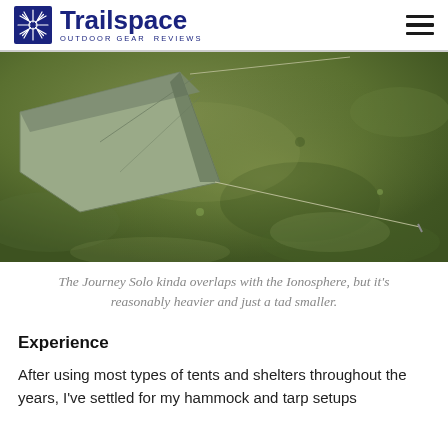Trailspace OUTDOOR GEAR REVIEWS
[Figure (photo): A low-angle outdoor photograph of a grey/olive single-person tent (Journey Solo) pitched on green grass, showing the tent body and guy lines staked into the lawn.]
The Journey Solo kinda overlaps with the Ionosphere, but it's reasonably heavier and just a tad smaller.
Experience
After using most types of tents and shelters throughout the years, I've settled for my hammock and tarp setups